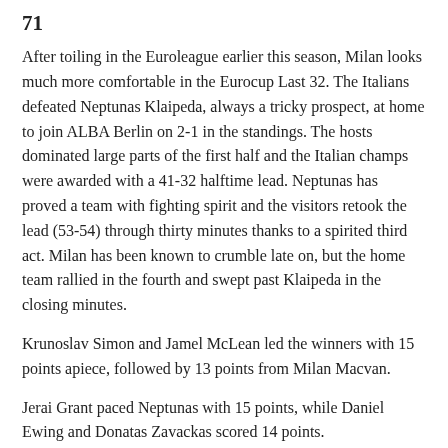71
After toiling in the Euroleague earlier this season, Milan looks much more comfortable in the Eurocup Last 32. The Italians defeated Neptunas Klaipeda, always a tricky prospect, at home to join ALBA Berlin on 2-1 in the standings. The hosts dominated large parts of the first half and the Italian champs were awarded with a 41-32 halftime lead. Neptunas has proved a team with fighting spirit and the visitors retook the lead (53-54) through thirty minutes thanks to a spirited third act. Milan has been known to crumble late on, but the home team rallied in the fourth and swept past Klaipeda in the closing minutes.
Krunoslav Simon and Jamel McLean led the winners with 15 points apiece, followed by 13 points from Milan Macvan.
Jerai Grant paced Neptunas with 15 points, while Daniel Ewing and Donatas Zavackas scored 14 points.
Valencia